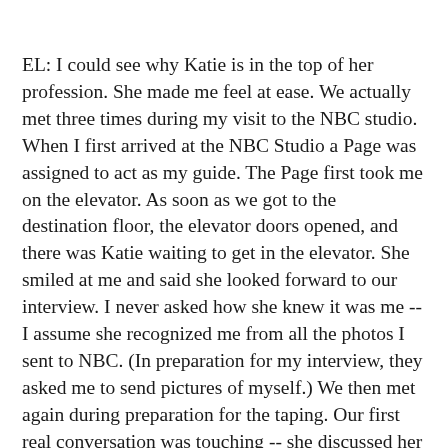EL: I could see why Katie is in the top of her profession. She made me feel at ease. We actually met three times during my visit to the NBC studio. When I first arrived at the NBC Studio a Page was assigned to act as my guide. The Page first took me on the elevator. As soon as we got to the destination floor, the elevator doors opened, and there was Katie waiting to get in the elevator. She smiled at me and said she looked forward to our interview. I never asked how she knew it was me -- I assume she recognized me from all the photos I sent to NBC. (In preparation for my interview, they asked me to send pictures of myself.) We then met again during preparation for the taping. Our first real conversation was touching -- she discussed her late husband, Jay. She mentioned that her husband was the same age as I was when he was diagnosed with colon cancer. After the interview, I took pictures with her. I then went to the Green Room, where I met other Today show guests, including Mayor Ed Koch and Governor Mario Cuomo. They asked for presentation skills tips! Katie walked by the Green Room and saw me; she then came in and said